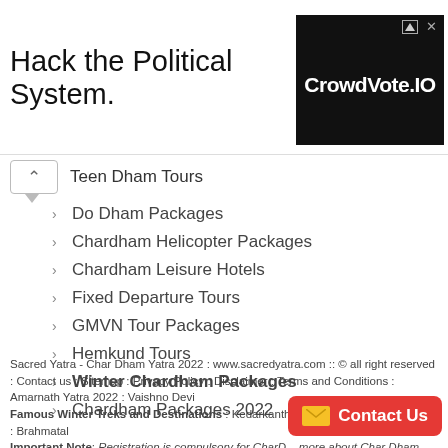[Figure (screenshot): Advertisement banner: 'Hack the Political System.' text on left, CrowdVote.IO logo on dark background on right]
Teen Dham Tours
Do Dham Packages
Chardham Helicopter Packages
Chardham Leisure Hotels
Fixed Departure Tours
GMVN Tour Packages
Hemkund Tours
Winter Chardham Packages
Chardham Packages 2022
Sacred Yatra - Char Dham Yatra 2022 : www.sacredyatra.com :: © all right reserved : Contact us : Sitemap : Privacy Policy : Disclaimer : Terms and Conditions : Amarnath Yatra 2022 : Vaishno Devi
Famous Winter Treks and Destinations : Kedarkantha : Auli : Chopta : Har Ki Dun : Brahmatal
Important Note: Registration is compulsory for CharDham... more about Char Dham Yatra Registrations